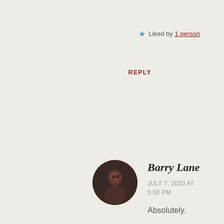★ Liked by 1 person
REPLY
[Figure (photo): Circular avatar photo of Barry Lane, dark sepia-toned portrait]
Barry Lane
JULY 7, 2020 AT 5:50 PM
Absolutely.
★ Like
REPLY